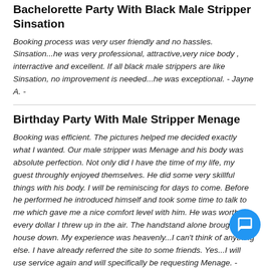Bachelorette Party With Black Male Stripper Sinsation
Booking process was very user friendly and no hassles. Sinsation...he was very professional, attractive,very nice body , interractive and excellent. If all black male strippers are like Sinsation, no improvement is needed...he was exceptional. - Jayne A. -
Birthday Party With Male Stripper Menage
Booking was efficient. The pictures helped me decided exactly what I wanted. Our male stripper was Menage and his body was absolute perfection. Not only did I have the time of my life, my guest throughly enjoyed themselves. He did some very skillful things with his body. I will be reminiscing for days to come. Before he performed he introduced himself and took some time to talk to me which gave me a nice comfort level with him. He was worth every dollar I threw up in the air. The handstand alone brought the house down. My experience was heavenly...I can't think of anything else. I have already referred the site to some friends. Yes...I will use service again and will specifically be requesting Menage. - Nina J. -
Exotic Male Dancer Bachelorette Party
The website was nice and easy to navigate and the ordering